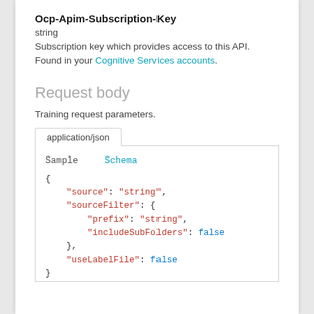Ocp-Apim-Subscription-Key
string
Subscription key which provides access to this API. Found in your Cognitive Services accounts.
Request body
Training request parameters.
application/json
Sample   Schema
{
    "source": "string",
    "sourceFilter": {
        "prefix": "string",
        "includeSubFolders": false
    },
    "useLabelFile": false
}